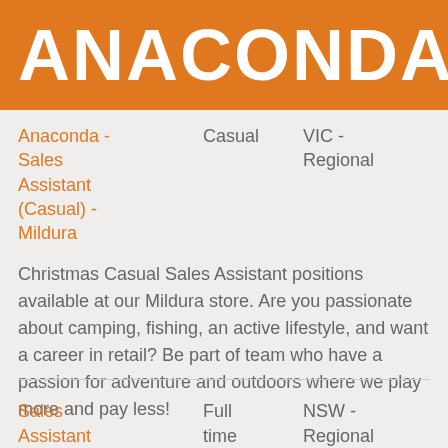ANACONDA
Anaconda - Sales Assistant (Casual) - Mildura	Casual	VIC - Regional
Christmas Casual Sales Assistant positions available at our Mildura store. Are you passionate about camping, fishing, an active lifestyle, and want a career in retail? Be part of team who have a passion for adventure and outdoors where we play more and pay less!
Sales Assistant	Full time	NSW - Regional